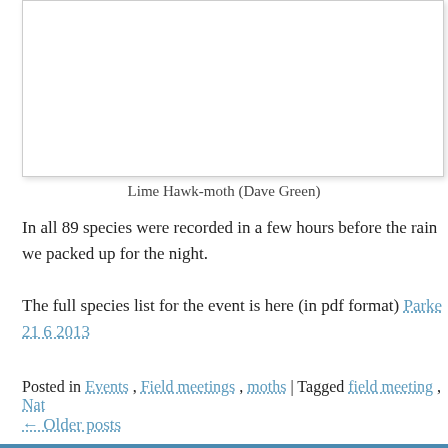[Figure (photo): Photo of Lime Hawk-moth, partially visible at top of page, white background with border]
Lime Hawk-moth (Dave Green)
In all 89 species were recorded in a few hours before the rain we packed up for the night.
The full species list for the event is here (in pdf format) Parke 21 6 2013
Posted in Events , Field meetings , moths | Tagged field meeting , Nat
← Older posts